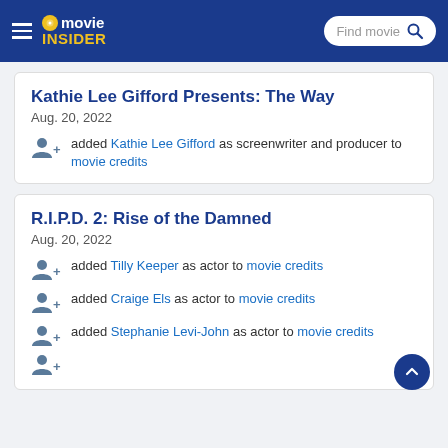movie INSIDER
Kathie Lee Gifford Presents: The Way
Aug. 20, 2022
added Kathie Lee Gifford as screenwriter and producer to movie credits
R.I.P.D. 2: Rise of the Damned
Aug. 20, 2022
added Tilly Keeper as actor to movie credits
added Craige Els as actor to movie credits
added Stephanie Levi-John as actor to movie credits